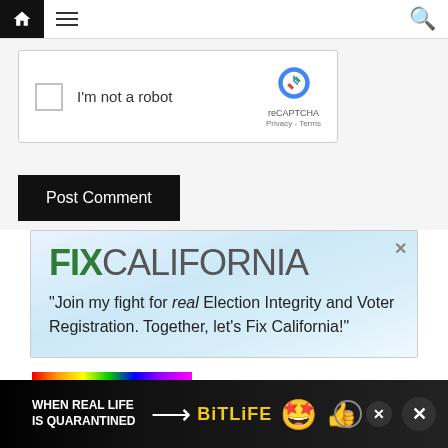Navigation bar with home icon, menu icon, search icon
[Figure (screenshot): reCAPTCHA checkbox widget with 'I'm not a robot' text and Google reCAPTCHA logo, Privacy and Terms links]
Post Comment
[Figure (screenshot): Fix California advertisement banner with green 'FIX' and gray 'CALIFORNIA' logo text, quote: 'Join my fight for real Election Integrity and Voter Registration. Together, let's Fix California!']
[Figure (screenshot): BitLife mobile game advertisement banner at bottom: 'When Real Life Is Quarantined' text with rainbow strip, BitLife logo in yellow, emoji character with star eyes wearing mask]